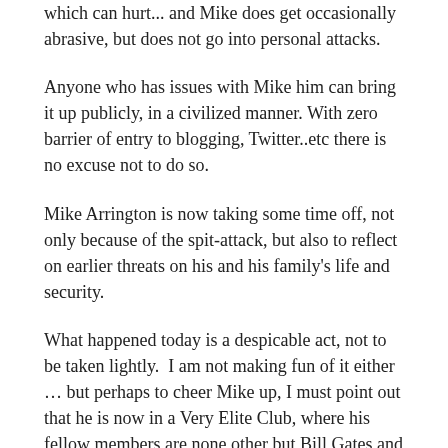which can hurt... and Mike does get occasionally abrasive, but does not go into personal attacks.
Anyone who has issues with Mike him can bring it up publicly, in a civilized manner. With zero barrier of entry to blogging, Twitter..etc there is no excuse not to do so.
Mike Arrington is now taking some time off, not only because of the spit-attack, but also to reflect on earlier threats on his and his family's life and security.
What happened today is a despicable act, not to be taken lightly.  I am not making fun of it either … but perhaps to cheer Mike up, I must point out that he is now in a Very Elite Club, where his fellow members are none other but Bill Gates and Steve Ballmer.
We probably all remember how Microsoft CEO Steve Ballmer received the egg treatment in Budapest last year: